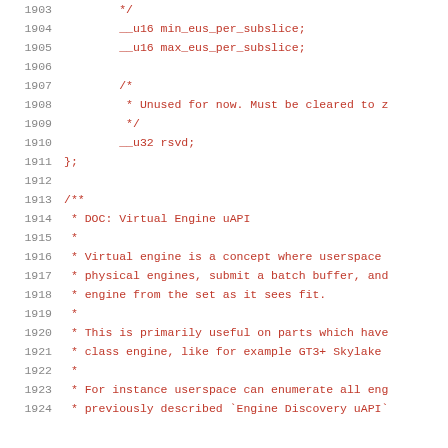Code listing lines 1903-1924 showing C struct definition and documentation comment for Virtual Engine uAPI